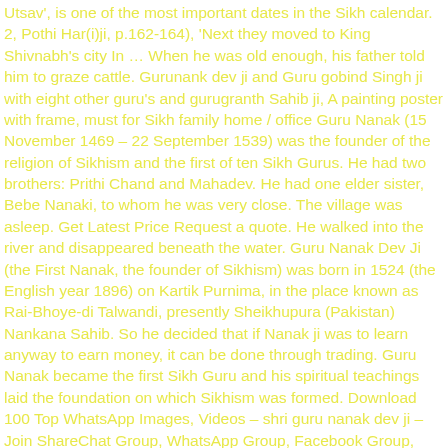Utsav', is one of the most important dates in the Sikh calendar. 2, Pothi Har(i)ji, p.162-164), 'Next they moved to King Shivnabh's city In … When he was old enough, his father told him to graze cattle. Gurunank dev ji and Guru gobind Singh ji with eight other guru's and gurugranth Sahib ji, A painting poster with frame, must for Sikh family home / office Guru Nanak (15 November 1469 – 22 September 1539) was the founder of the religion of Sikhism and the first of ten Sikh Gurus. He had two brothers: Prithi Chand and Mahadev. He had one elder sister, Bebe Nanaki, to whom he was very close. The village was asleep. Get Latest Price Request a quote. He walked into the river and disappeared beneath the water. Guru Nanak Dev Ji (the First Nanak, the founder of Sikhism) was born in 1524 (the English year 1896) on Kartik Purnima, in the place known as Rai-Bhoye-di Talwandi, presently Sheikhupura (Pakistan) Nankana Sahib. So he decided that if Nanak ji was to learn anyway to earn money, it can be done through trading. Guru Nanak became the first Sikh Guru and his spiritual teachings laid the foundation on which Sikhism was formed. Download 100 Top WhatsApp Images, Videos – shri guru nanak dev ji – Join ShareChat Group, WhatsApp Group, Facebook Group, Telegram Group Hello and welcome to V-Giyan, we freshly prepare and deliver authentic & healthy vegan punjabi food in Oxfordshire. Guru Nanak Dev Ji was the founder of one of the largest religions of the world, Sikhism. 107 K. 187 50. 1. When he attained the